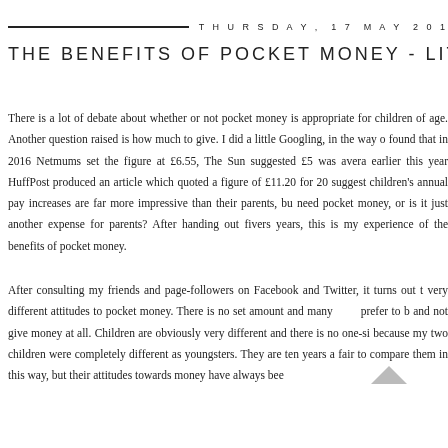THURSDAY, 17 MAY 201
THE BENEFITS OF POCKET MONEY - LITTLE
There is a lot of debate about whether or not pocket money is appropriate for children of age. Another question raised is how much to give. I did a little Googling, in the way o found that in 2016 Netmums set the figure at £6.55, The Sun suggested £5 was avera earlier this year HuffPost produced an article which quoted a figure of £11.20 for 20 suggest children's annual pay increases are far more impressive than their parents, bu need pocket money, or is it just another expense for parents? After handing out fivers years, this is my experience of the benefits of pocket money.
After consulting my friends and page-followers on Facebook and Twitter, it turns out t very different attitudes to pocket money. There is no set amount and many prefer to b and not give money at all. Children are obviously very different and there is no one-si because my two children were completely different as youngsters. They are ten years ap fair to compare them in this way, but their attitudes towards money have always bee